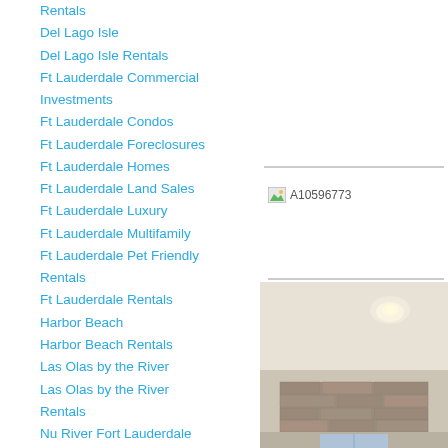Rentals
Del Lago Isle
Del Lago Isle Rentals
Ft Lauderdale Commercial Investments
Ft Lauderdale Condos
Ft Lauderdale Foreclosures
Ft Lauderdale Homes
Ft Lauderdale Land Sales
Ft Lauderdale Luxury
Ft Lauderdale Multifamily
Ft Lauderdale Pet Friendly Rentals
Ft Lauderdale Rentals
Harbor Beach
Harbor Beach Rentals
Las Olas by the River
Las Olas by the River Rentals
Nu River Fort Lauderdale
Nu River Fort Lauderdale Rentals
Riviera Isles
Riviera Isles Rentals
Sunrise
Sunrise Rentals
The Symphony
The Symphony Rentals
Venezia Las Olas
Venezia Las Olas Rentals
Waverly Fort Lauderdale
Waverly Fort Lauderdale
[Figure (other): Broken image placeholder labeled A10596773]
[Figure (photo): Interior room photo showing ceiling with light fixture and stone/brick wall feature]